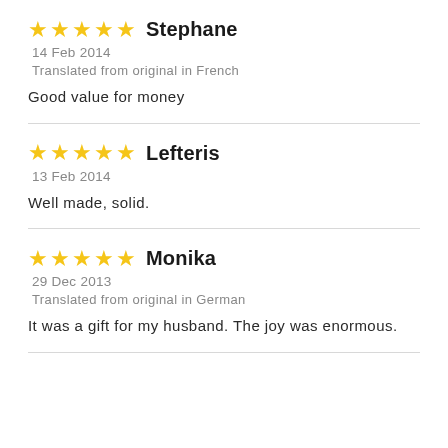★★★★★ Stephane
14 Feb 2014
Translated from original in French
Good value for money
★★★★★ Lefteris
13 Feb 2014
Well made, solid.
★★★★★ Monika
29 Dec 2013
Translated from original in German
It was a gift for my husband. The joy was enormous.